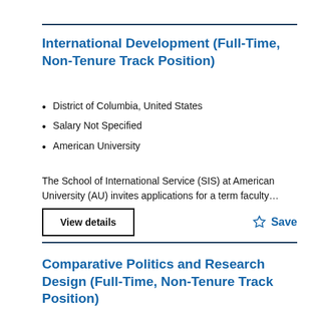International Development (Full-Time, Non-Tenure Track Position)
District of Columbia, United States
Salary Not Specified
American University
The School of International Service (SIS) at American University (AU) invites applications for a term faculty…
Comparative Politics and Research Design (Full-Time, Non-Tenure Track Position)